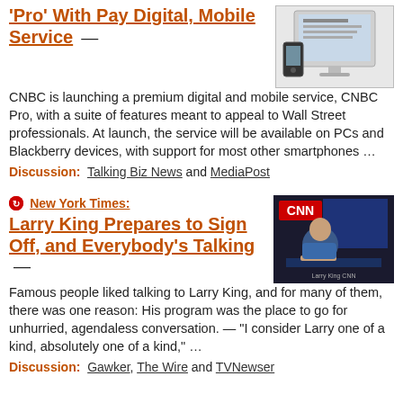'Pro' With Pay Digital, Mobile Service  —
[Figure (screenshot): Screenshot showing a computer monitor with a website and a BlackBerry phone]
CNBC is launching a premium digital and mobile service, CNBC Pro, with a suite of features meant to appeal to Wall Street professionals.  At launch, the service will be available on PCs and Blackberry devices, with support for most other smartphones …
Discussion:  Talking Biz News and MediaPost
New York Times: Larry King Prepares to Sign Off, and Everybody's Talking  —
[Figure (photo): Photo of Larry King at the CNN desk, leaning forward]
Famous people liked talking to Larry King, and for many of them, there was one reason: His program was the place to go for unhurried, agendaless conversation.  —  "I consider Larry one of a kind, absolutely one of a kind," …
Discussion:  Gawker, The Wire and TVNewser